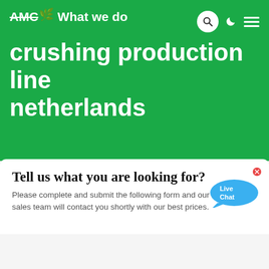AMC What we do crushing production line netherlands
Tell us what you are looking for?
Please complete and submit the following form and our sales team will contact you shortly with our best prices.
Name: *
As: Tom
Email: *
As: vip@shanghaimeilan.com
Phone: *
With Country Code